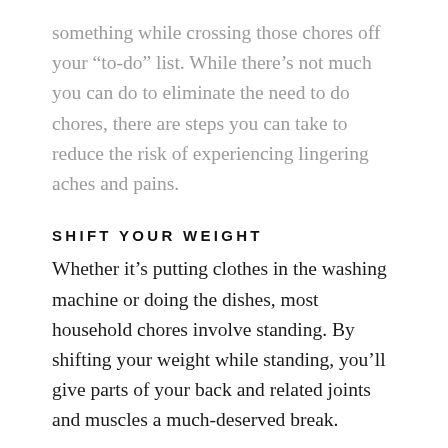something while crossing those chores off your “to-do” list. While there’s not much you can do to eliminate the need to do chores, there are steps you can take to reduce the risk of experiencing lingering aches and pains.
SHIFT YOUR WEIGHT
Whether it’s putting clothes in the washing machine or doing the dishes, most household chores involve standing. By shifting your weight while standing, you’ll give parts of your back and related joints and muscles a much-deserved break.
ACCEPT YOUR LIMITS